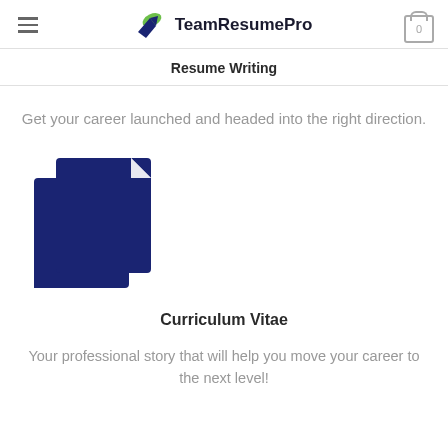TeamResumePro
Resume Writing
Get your career launched and headed into the right direction.
[Figure (illustration): Two overlapping document/file icons in dark navy blue, representing a resume or CV]
Curriculum Vitae
Your professional story that will help you move your career to the next level!